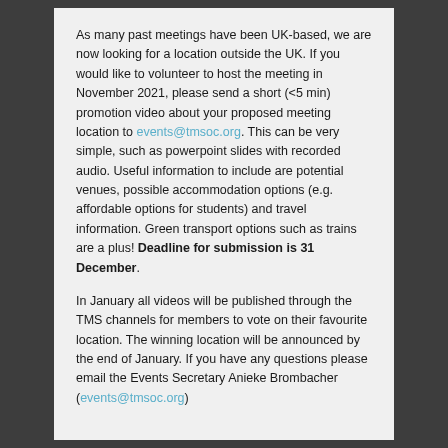As many past meetings have been UK-based, we are now looking for a location outside the UK. If you would like to volunteer to host the meeting in November 2021, please send a short (<5 min) promotion video about your proposed meeting location to events@tmsoc.org. This can be very simple, such as powerpoint slides with recorded audio. Useful information to include are potential venues, possible accommodation options (e.g. affordable options for students) and travel information. Green transport options such as trains are a plus! Deadline for submission is 31 December.
In January all videos will be published through the TMS channels for members to vote on their favourite location. The winning location will be announced by the end of January. If you have any questions please email the Events Secretary Anieke Brombacher (events@tmsoc.org)